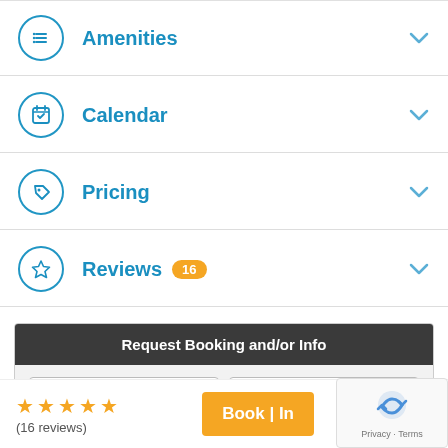Amenities
Calendar
Pricing
Reviews 16
[Figure (screenshot): Request Booking and/or Info panel with Arrive Date and Depart Date fields]
(16 reviews)
Book | In...